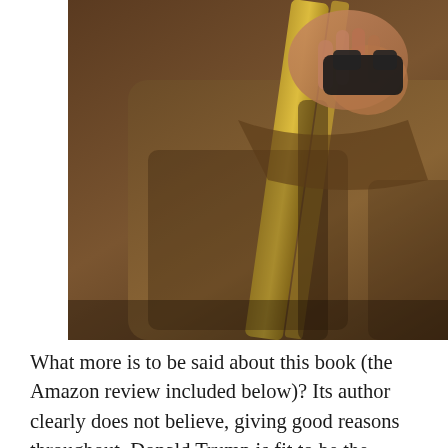[Figure (photo): A close-up photo of a person wearing a brown/olive jacket with a yellow strap visible, holding something near their chest. The image is cropped and partially shown at the top of the page.]
What more is to be said about this book (the Amazon review included below)? Its author clearly does not believe, giving good reasons throughout, Donald Trump is fit to be the president of the United States. In his last chapters he (or she) asks what is to be done? He (or she) tells Democrats that their visceral hatred of Trump, their “get him out by any means” attitude, is not helpful to the very process of getting him out. Although this is perhaps technically true the author does not seem to understand the origin of the reaction because he